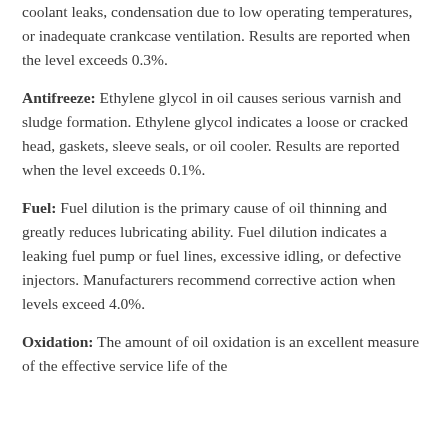coolant leaks, condensation due to low operating temperatures, or inadequate crankcase ventilation. Results are reported when the level exceeds 0.3%.
Antifreeze: Ethylene glycol in oil causes serious varnish and sludge formation. Ethylene glycol indicates a loose or cracked head, gaskets, sleeve seals, or oil cooler. Results are reported when the level exceeds 0.1%.
Fuel: Fuel dilution is the primary cause of oil thinning and greatly reduces lubricating ability. Fuel dilution indicates a leaking fuel pump or fuel lines, excessive idling, or defective injectors. Manufacturers recommend corrective action when levels exceed 4.0%.
Oxidation: The amount of oil oxidation is an excellent measure of the effective service life of the